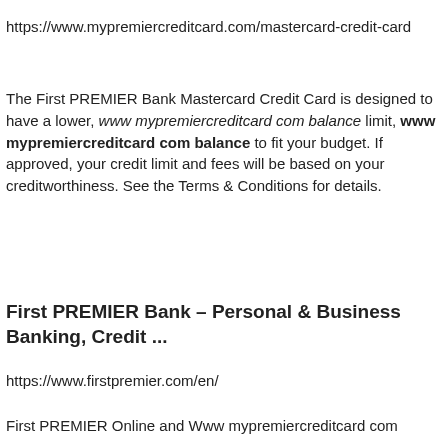https://www.mypremiercreditcard.com/mastercard-credit-card
The First PREMIER Bank Mastercard Credit Card is designed to have a lower, www mypremiercreditcard com balance limit, www mypremiercreditcard com balance to fit your budget. If approved, your credit limit and fees will be based on your creditworthiness. See the Terms & Conditions for details.
First PREMIER Bank – Personal & Business Banking, Credit ...
https://www.firstpremier.com/en/
First PREMIER Online and Www mypremiercreditcard com